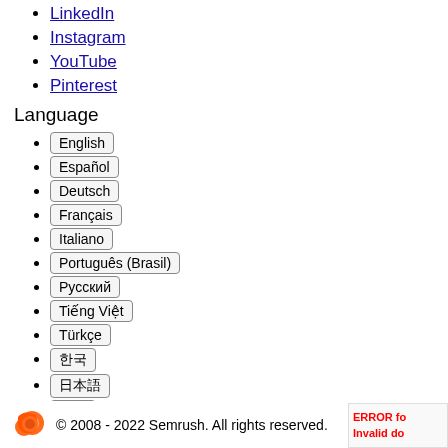LinkedIn
Instagram
YouTube
Pinterest
Language
English
Español
Deutsch
Français
Italiano
Português (Brasil)
Русский
Tiếng Việt
Türkçe
한국어
日本語
中文
© 2008 - 2022 Semrush. All rights reserved.